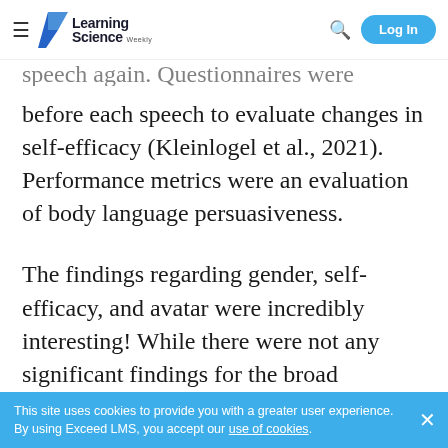Learning Science Weekly — Log In
speech again. Questionnaires were provided before each speech to evaluate changes in self-efficacy (Kleinlogel et al., 2021). Performance metrics were an evaluation of body language persuasiveness.
The findings regarding gender, self-efficacy, and avatar were incredibly interesting! While there were not any significant findings for the broad categories of gender, self-efficacy, etc., a 3-way interaction effect was
This site uses cookies to provide you with a greater user experience. By using Exceed LMS, you accept our use of cookies.